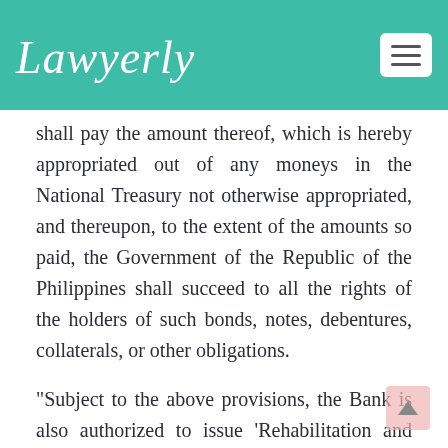Lawyerly
shall pay the amount thereof, which is hereby appropriated out of any moneys in the National Treasury not otherwise appropriated, and thereupon, to the extent of the amounts so paid, the Government of the Republic of the Philippines shall succeed to all the rights of the holders of such bonds, notes, debentures, collaterals, or other obligations.
"Subject to the above provisions, the Bank is also authorized to issue 'Rehabilitation and development bonds' in denominations of not less than fifty pesos nor more than one thousand pesos redeemable by the Bank on demand at the option of the holder, for which the which one of the